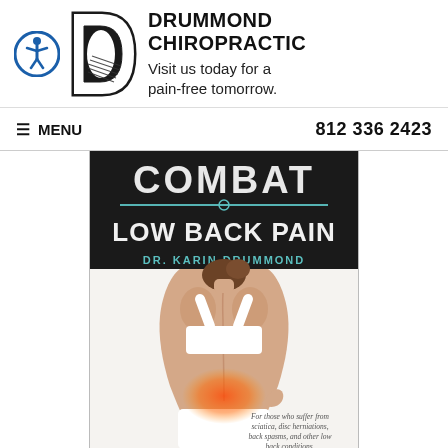[Figure (logo): Drummond Chiropractic logo with accessibility icon, stylized D with spine graphic, business name and tagline]
≡ MENU    812 336 2423
[Figure (photo): Book cover: COMBAT LOW BACK PAIN by Dr. Karin Drummond. Shows woman from behind holding her lower back with a red pain highlight. Text: For those who suffer from sciatica, disc herniations, back spasms, and other low back conditions.]